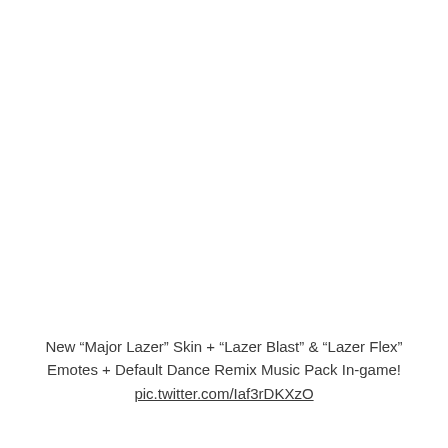New “Major Lazer” Skin + “Lazer Blast” & “Lazer Flex” Emotes + Default Dance Remix Music Pack In-game!
pic.twitter.com/Iaf3rDKXzO